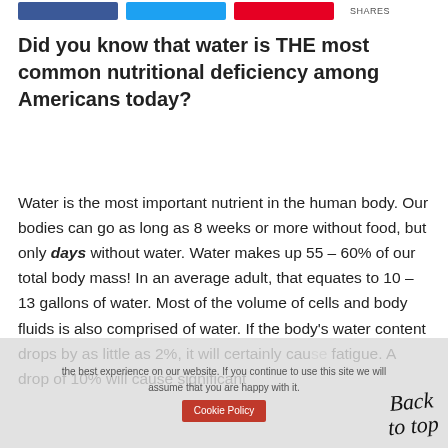[Figure (other): Social sharing buttons: Facebook (blue), Twitter (light blue), Pinterest (red), followed by SHARES label]
Did you know that water is THE most common nutritional deficiency among Americans today?
Water is the most important nutrient in the human body.  Our bodies can go as long as 8 weeks or more without food, but only days without water.  Water makes up 55 – 60% of our total body mass!  In an average adult, that equates to 10 – 13 gallons of water.  Most of the volume of cells and body fluids is also comprised of water.  If the body's water content drops by as little as 2%, it will certainly cause fatigue.  A drop of 10% will cause significant
the best experience on our website. If you continue to use this site we will assume that you are happy with it.
Cookie Policy